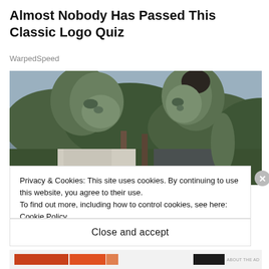Almost Nobody Has Passed This Classic Logo Quiz
WarpedSpeed
[Figure (photo): Two green-skinned CGI characters (Hulk and She-Hulk) facing each other outdoors with trees and sky in background]
Privacy & Cookies: This site uses cookies. By continuing to use this website, you agree to their use.
To find out more, including how to control cookies, see here: Cookie Policy
Close and accept